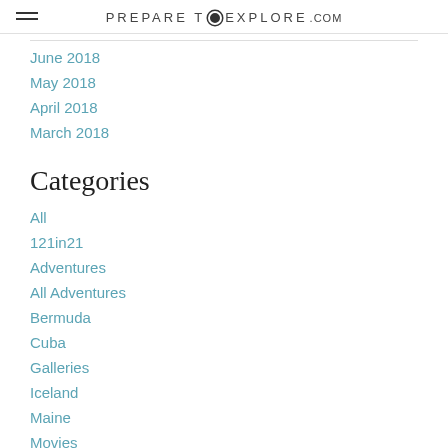PREPARE TO EXPLORE.com
June 2018
May 2018
April 2018
March 2018
Categories
All
121in21
Adventures
All Adventures
Bermuda
Cuba
Galleries
Iceland
Maine
Movies
Panama